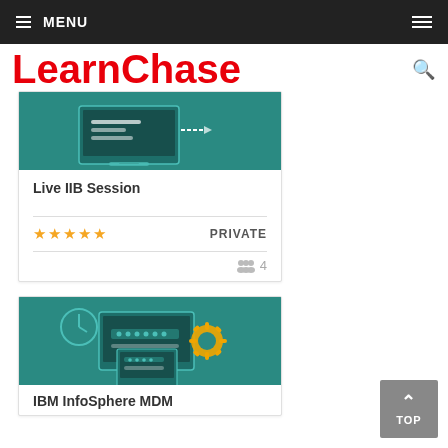MENU
LearnChase
[Figure (illustration): Teal background card image with computer/network diagram illustration]
Live IIB Session
PRIVATE
4 students
[Figure (illustration): Teal background card image with computer screens and gear/settings illustration]
IBM InfoSphere MDM